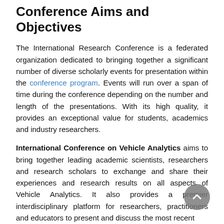Conference Aims and Objectives
The International Research Conference is a federated organization dedicated to bringing together a significant number of diverse scholarly events for presentation within the conference program. Events will run over a span of time during the conference depending on the number and length of the presentations. With its high quality, it provides an exceptional value for students, academics and industry researchers.
International Conference on Vehicle Analytics aims to bring together leading academic scientists, researchers and research scholars to exchange and share their experiences and research results on all aspects of Vehicle Analytics. It also provides a premier interdisciplinary platform for researchers, practitioners and educators to present and discuss the most recent